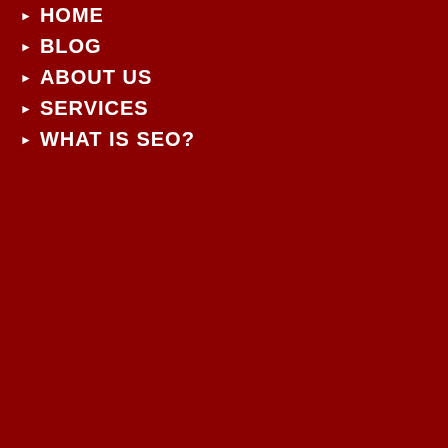HOME
BLOG
ABOUT US
SERVICES
WHAT IS SEO?
@DieselBABE20 He deserved be put on bkast....
Time ago 22 Hours via Twitter for Android
@DieselBABE20 Whaa? 😄
Time ago 22 Hours via Twitter for Android
RT @CyberStampede: Digital Media is inviting you to join G Film. @GoGalaFilms 🖊🖊🖊 t.co/clGqHD1zf1 Referral code 6204839...
Time ago 1 Day via Twitter Web App
Follow @cyberstampede on tw
Copyright